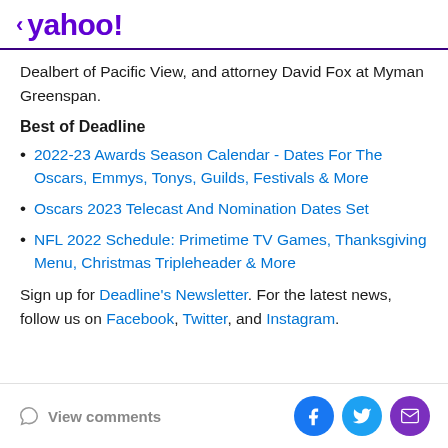< yahoo!
Dealbert of Pacific View, and attorney David Fox at Myman Greenspan.
Best of Deadline
2022-23 Awards Season Calendar - Dates For The Oscars, Emmys, Tonys, Guilds, Festivals & More
Oscars 2023 Telecast And Nomination Dates Set
NFL 2022 Schedule: Primetime TV Games, Thanksgiving Menu, Christmas Tripleheader & More
Sign up for Deadline's Newsletter. For the latest news, follow us on Facebook, Twitter, and Instagram.
View comments